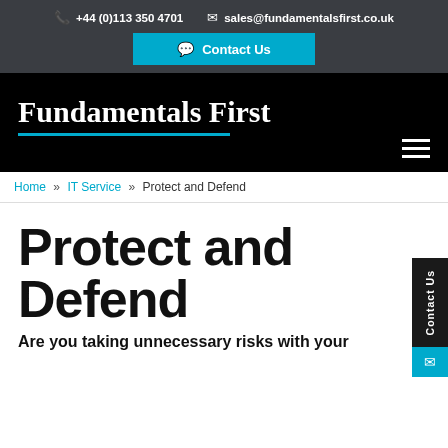+44 (0)113 350 4701   sales@fundamentalsfirst.co.uk
Contact Us
Fundamentals First
Home » IT Service » Protect and Defend
Protect and Defend
Are you taking unnecessary risks with your